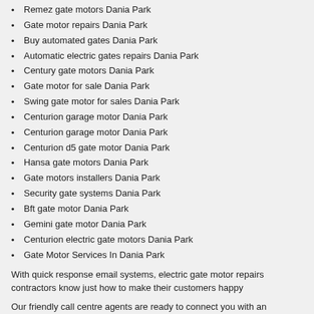Remez gate motors Dania Park
Gate motor repairs Dania Park
Buy automated gates Dania Park
Automatic electric gates repairs Dania Park
Century gate motors Dania Park
Gate motor for sale Dania Park
Swing gate motor for sales Dania Park
Centurion garage motor Dania Park
Centurion garage motor Dania Park
Centurion d5 gate motor Dania Park
Hansa gate motors Dania Park
Gate motors installers Dania Park
Security gate systems Dania Park
Bft gate motor Dania Park
Gemini gate motor Dania Park
Centurion electric gate motors Dania Park
Gate Motor Services In Dania Park
With quick response email systems, electric gate motor repairs contractors know just how to make their customers happy
Our friendly call centre agents are ready to connect you with an approved electric gate motor repairs business
We are the best Centurion garage motor company in Dania Park so give us a call at: 010 109 3732 today!
Domestic gas pipe installation in Dania Park >>